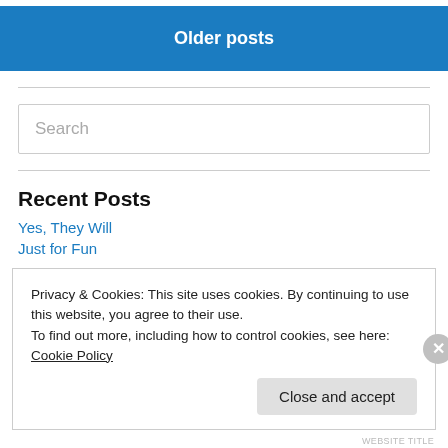Older posts
Search
Recent Posts
Yes, They Will
Just for Fun
Privacy & Cookies: This site uses cookies. By continuing to use this website, you agree to their use.
To find out more, including how to control cookies, see here: Cookie Policy
Close and accept